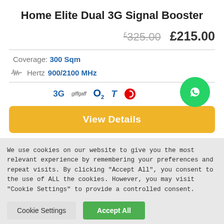Home Elite Dual 3G Signal Booster
£325.00  £215.00
Coverage: 300 Sqm
Hertz 900/2100 MHz
[Figure (infographic): Network compatibility logos: 3G, giffgaff, O2, T (Tesco), Vodafone]
View Details
We use cookies on our website to give you the most relevant experience by remembering your preferences and repeat visits. By clicking "Accept All", you consent to the use of ALL the cookies. However, you may visit "Cookie Settings" to provide a controlled consent.
Cookie Settings  Accept All